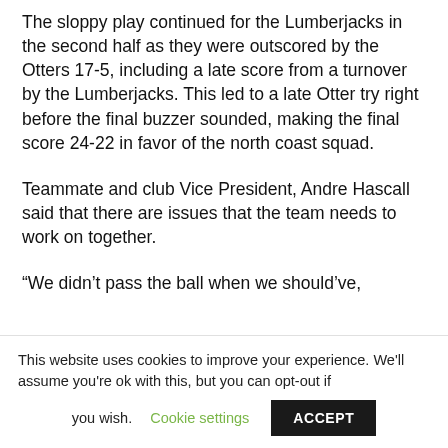The sloppy play continued for the Lumberjacks in the second half as they were outscored by the Otters 17-5, including a late score from a turnover by the Lumberjacks. This led to a late Otter try right before the final buzzer sounded, making the final score 24-22 in favor of the north coast squad.
Teammate and club Vice President, Andre Hascall said that there are issues that the team needs to work on together.
“We didn’t pass the ball when we should’ve,
This website uses cookies to improve your experience. We'll assume you're ok with this, but you can opt-out if you wish. Cookie settings ACCEPT